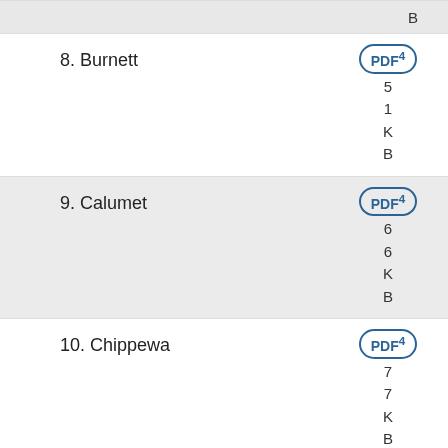B (partial top row)
8. Burnett — PDF, 4, 5, 1, K, B
9. Calumet — PDF, 4, 6, 6, K, B
10. Chippewa — PDF, 4, 7, 7, K, B